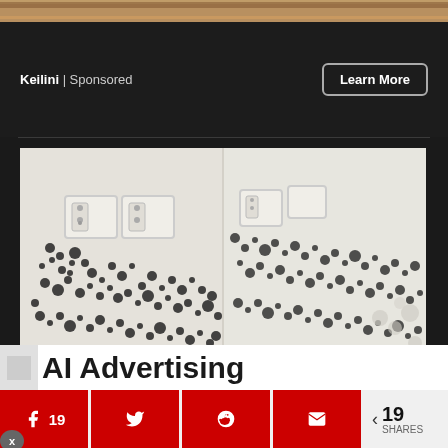[Figure (photo): Top cropped image showing wooden/decorative surface with warm tones]
Keilini | Sponsored
Learn More
[Figure (photo): Photo of a room corner with severe black mold growth covering white walls, with electrical outlets visible and wooden baseboard flooring]
AI Advertising
19  19 SHARES